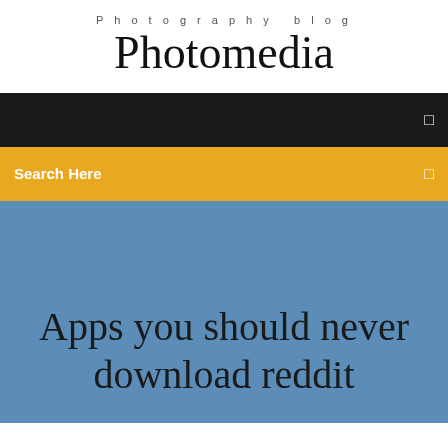Photography blog
Photomedia
Search Here
Apps you should never download reddit